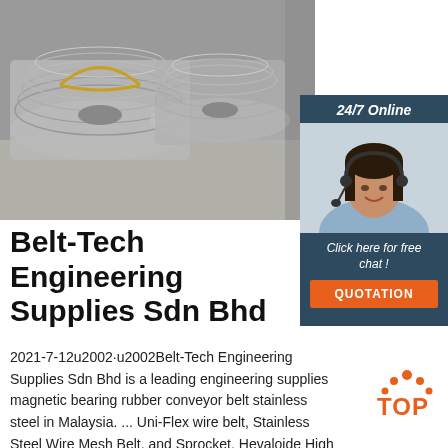[Figure (photo): Large coils/spools of stainless steel wire or cable stored on tiled floor. Wire appears wound tightly on large cylindrical spools.]
[Figure (infographic): 24/7 Online chat widget with photo of smiling woman with headset, 'Click here for free chat!' text, and orange QUOTATION button, on dark blue background.]
Belt-Tech Engineering Supplies Sdn Bhd
2021-7-12u2002·u2002Belt-Tech Engineering Supplies Sdn Bhd is a leading engineering supplies magnetic bearing rubber conveyor belt stainless steel in Malaysia. ... Uni-Flex wire belt, Stainless Steel Wire Mesh Belt, and Sprocket. Hevaloide High Performance Flat Belt, Feeder